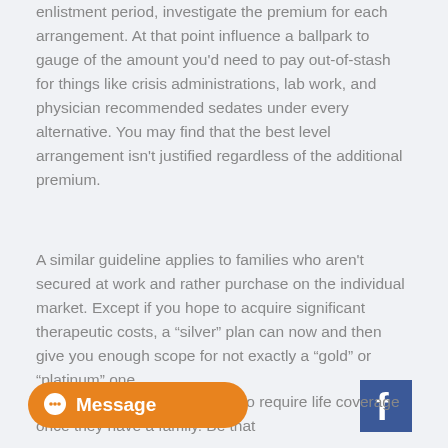enlistment period, investigate the premium for each arrangement. At that point influence a ballpark to gauge of the amount you'd need to pay out-of-stash for things like crisis administrations, lab work, and physician recommended sedates under every alternative. You may find that the best level arrangement isn't justified regardless of the additional premium.
A similar guideline applies to families who aren't secured at work and rather purchase on the individual market. Except if you hope to acquire significant therapeutic costs, a “silver” plan can now and then give you enough scope for not exactly a “gold” or “platinum” one.
[Figure (logo): Facebook logo icon — blue square with white 'f']
[Figure (other): Orange 'Message' chat button with chat bubble icon]
alth scope, most people truly do require life coverage once they have a family. Be that